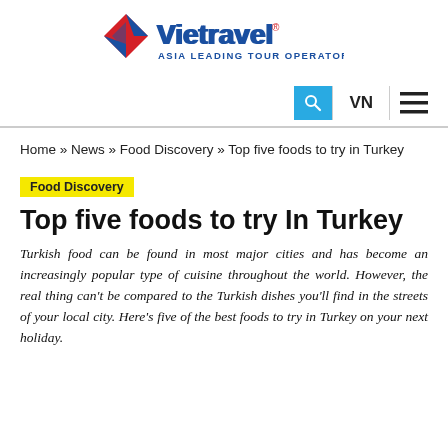[Figure (logo): Vietravel logo with red and blue arrow graphic and text 'Vietravel® ASIA LEADING TOUR OPERATOR']
VN [search] [menu]
Home » News » Food Discovery » Top five foods to try in Turkey
Food Discovery
Top five foods to try In Turkey
Turkish food can be found in most major cities and has become an increasingly popular type of cuisine throughout the world. However, the real thing can't be compared to the Turkish dishes you'll find in the streets of your local city. Here's five of the best foods to try in Turkey on your next holiday.